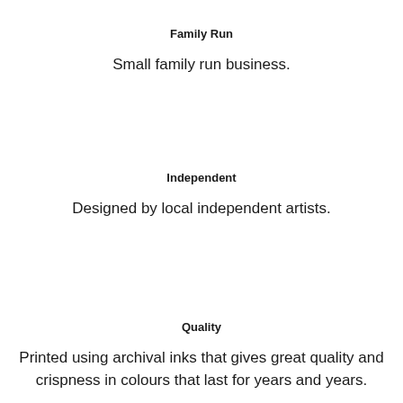Family Run
Small family run business.
Independent
Designed by local independent artists.
Quality
Printed using archival inks that gives great quality and crispness in colours that last for years and years.